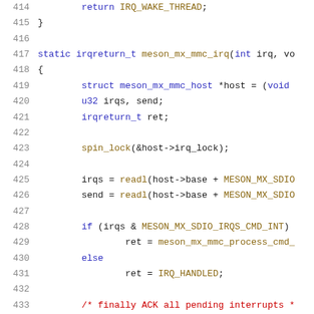414   return IRQ_WAKE_THREAD;
415   }
416
417   static irqreturn_t meson_mx_mmc_irq(int irq, vo
418   {
419           struct meson_mx_mmc_host *host = (void
420           u32 irqs, send;
421           irqreturn_t ret;
422
423           spin_lock(&host->irq_lock);
424
425           irqs = readl(host->base + MESON_MX_SDIO
426           send = readl(host->base + MESON_MX_SDIO
427
428           if (irqs & MESON_MX_SDIO_IRQS_CMD_INT)
429                   ret = meson_mx_mmc_process_cmd_
430           else
431                   ret = IRQ_HANDLED;
432
433           /* finally ACK all pending interrupts *
434           writel(irqs, host->base + MESON_MX_SDIO
435